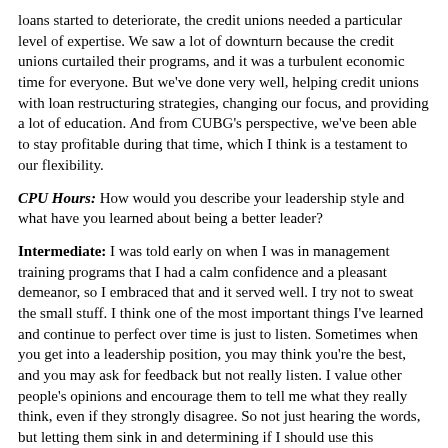loans started to deteriorate, the credit unions needed a particular level of expertise. We saw a lot of downturn because the credit unions curtailed their programs, and it was a turbulent economic time for everyone. But we've done very well, helping credit unions with loan restructuring strategies, changing our focus, and providing a lot of education. And from CUBG's perspective, we've been able to stay profitable during that time, which I think is a testament to our flexibility.
CPU Hours: How would you describe your leadership style and what have you learned about being a better leader?
Intermediate: I was told early on when I was in management training programs that I had a calm confidence and a pleasant demeanor, so I embraced that and it served well. I try not to sweat the small stuff. I think one of the most important things I've learned and continue to perfect over time is just to listen. Sometimes when you get into a leadership position, you may think you're the best, and you may ask for feedback but not really listen. I value other people's opinions and encourage them to tell me what they really think, even if they strongly disagree. So not just hearing the words, but letting them sink in and determining if I should use this information to change course.
CPU Hours: Credit unions have seen strong growth in commercial lending over the past two years. Do you see this changing as the...